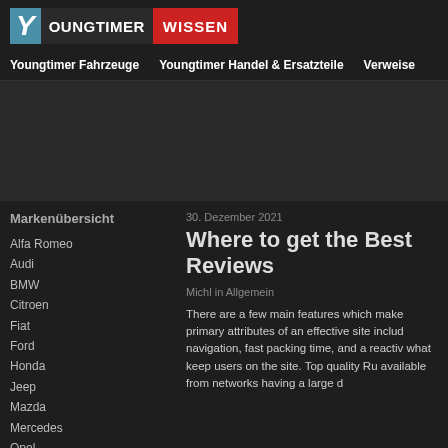YOUNGTIMER WISSEN
Youngtimer Fahrzeuge  Youngtimer Handel & Ersatzteile  Verweise
[Figure (other): Advertisement / banner area (dark gray background)]
Markenübersicht
Alfa Romeo
Audi
BMW
Citroen
Fiat
Ford
Honda
Jeep
Mazda
Mercedes
Opel
Porsche
30. Dezember 2021
Where to get the Best Reviews
Michl in Allgemein
There are a few main features which make primary attributes of an effective site include navigation, fast packing time, and a reactive what keep users on the site. Top quality Ru available from networks having a large d